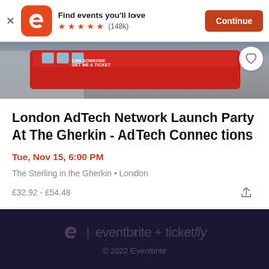[Figure (screenshot): Eventbrite app install banner with orange 'e' logo, 5 star rating, (148k) reviews, 'Find events you'll love' text, and orange Continue button]
[Figure (photo): Street photo showing a red double-decker London bus with a banner reading 'CAN SOMEONE GET ME A TICKET' in urban setting]
London AdTech Network Launch Party At The Gherkin - AdTech Connec tions
Tue, Nov 15, 6:00 PM
The Sterling in the Gherkin • London
£32.92 - £54.48
eventbrite + ticketfly
© 2022 Eventbrite